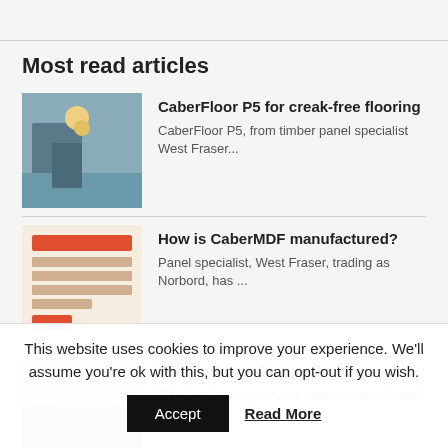Most read articles
CaberFloor P5 for creak-free flooring — CaberFloor P5, from timber panel specialist West Fraser...
How is CaberMDF manufactured? — Panel specialist, West Fraser, trading as Norbord, has ...
Nordic Green Copper Aurora — 'The fact that copper is a natural material and, of cou...
New Gerflor product book identifies future-proof floors — International vinyl and linoleum flooring specialist Ge...
This website uses cookies to improve your experience. We'll assume you're ok with this, but you can opt-out if you wish.
Accept   Read More